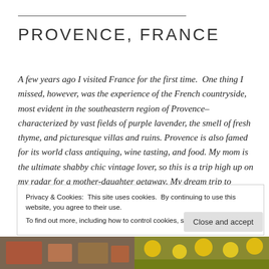PROVENCE, FRANCE
A few years ago I visited France for the first time.  One thing I missed, however, was the experience of the French countryside, most evident in the southeastern region of Provence–characterized by vast fields of purple lavender, the smell of fresh thyme, and picturesque villas and ruins. Provence is also famed for its world class antiquing, wine tasting, and food. My mom is the ultimate shabby chic vintage lover, so this is a trip high up on my radar for a mother-daughter getaway. My dream trip to Provence
Privacy & Cookies:  This site uses cookies.  By continuing to use this website, you agree to their use.
To find out more, including how to control cookies, see here: Cookie Policy
[Figure (photo): Two photos at the bottom of the page — left shows a colorful scene in Provence, right shows yellow sunflowers.]